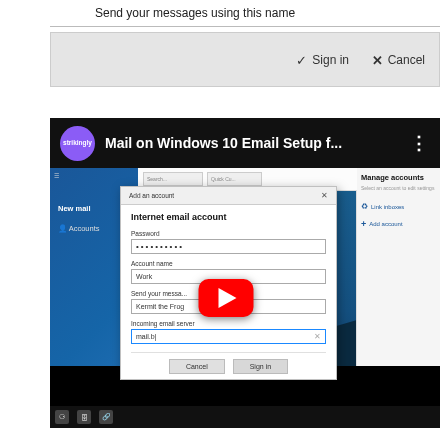Send your messages using this name
[Figure (screenshot): Windows 10 Mail app sign-in dialog showing 'Sign in' and 'Cancel' buttons on a gray bar]
[Figure (screenshot): YouTube video thumbnail showing 'Mail on Windows 10 Email Setup f...' by strikingly channel, with a Windows 10 Mail 'Add an account' dialog box open showing Internet email account fields: Password (filled with dots), Account name (Work), Send your messages field (Kermit the Frog), Incoming email server (mail.b|), with Cancel and Sign in buttons. The video has a red YouTube play button overlay.]